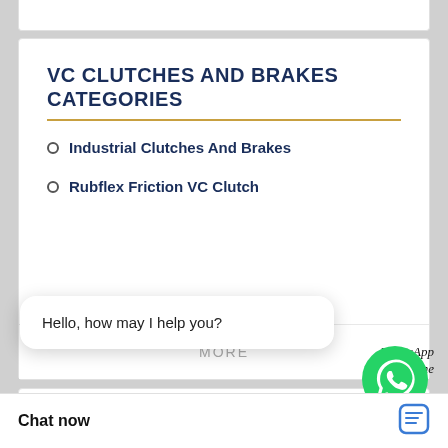VC CLUTCHES AND BRAKES CATEGORIES
Industrial Clutches And Brakes
Rubflex Friction VC Clutch
MORE
[Figure (logo): WhatsApp green phone icon]
WhatsApp Online
CUSTOMERS WHO VIEWED EATON AIRFLEX 28VC650 504976 ALSO VIEWED
Hello, how may I help you?
Best Price
Best Price
Chat now
[Figure (photo): Eaton Airflex product components in blue]